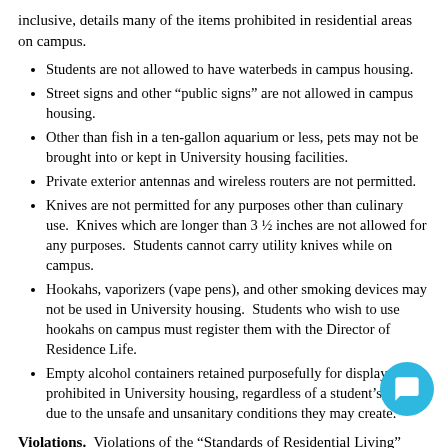inclusive, details many of the items prohibited in residential areas on campus.
Students are not allowed to have waterbeds in campus housing.
Street signs and other “public signs” are not allowed in campus housing.
Other than fish in a ten-gallon aquarium or less, pets may not be brought into or kept in University housing facilities.
Private exterior antennas and wireless routers are not permitted.
Knives are not permitted for any purposes other than culinary use.  Knives which are longer than 3 ½ inches are not allowed for any purposes.  Students cannot carry utility knives while on campus.
Hookahs, vaporizers (vape pens), and other smoking devices may not be used in University housing.  Students who wish to use hookahs on campus must register them with the Director of Residence Life.
Empty alcohol containers retained purposefully for display are prohibited in University housing, regardless of a student’s age, due to the unsafe and unsanitary conditions they may create.
Violations.  Violations of the "Standards of Residential Living"